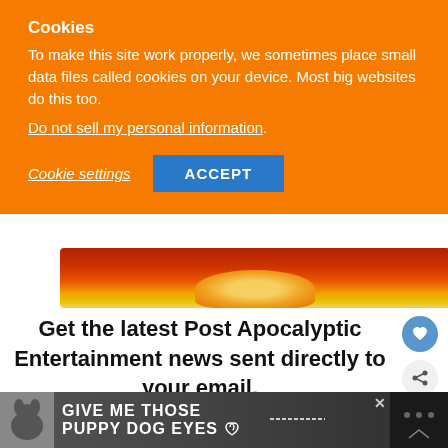Cookies
To make this site work properly, we sometimes place small data files called cookies on your device. Most big websites do this too.
Do not sell my personal information.
Cookie settings
ACCEPT
[Figure (photo): Post-apocalyptic scene with orange/red sky and mushroom cloud silhouette]
Get the latest Post Apocalyptic Entertainment news sent directly to your email.
Our content. Your inbox. Nuff said.
[Figure (infographic): Advertisement banner: GIVE ME THOSE PUPPY DOG EYES with dog image]